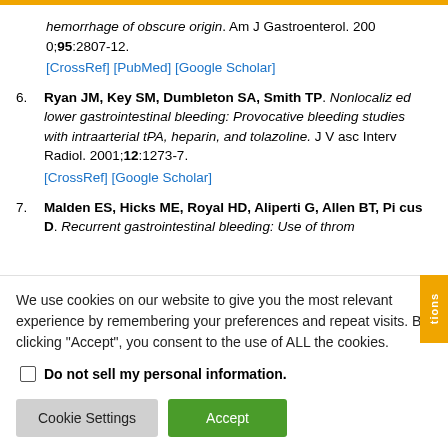hemorrhage of obscure origin. Am J Gastroenterol. 2000;95:2807-12. [CrossRef] [PubMed] [Google Scholar]
6. Ryan JM, Key SM, Dumbleton SA, Smith TP. Nonlocalized lower gastrointestinal bleeding: Provocative bleeding studies with intraarterial tPA, heparin, and tolazoline. J Vasc Interv Radiol. 2001;12:1273-7. [CrossRef] [Google Scholar]
7. Malden ES, Hicks ME, Royal HD, Aliperti G, Allen BT, Picus D. Recurrent gastrointestinal bleeding: Use of throm
We use cookies on our website to give you the most relevant experience by remembering your preferences and repeat visits. By clicking "Accept", you consent to the use of ALL the cookies.
Do not sell my personal information.
Cookie Settings | Accept